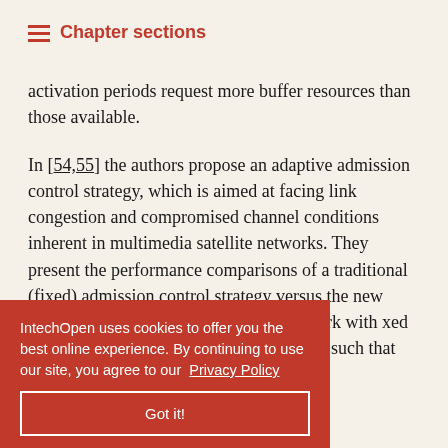Chapter sections
activation periods request more buffer resources than those available.
In [54,55] the authors propose an adaptive admission control strategy, which is aimed at facing link congestion and compromised channel conditions inherent in multimedia satellite networks. They present the performance comparisons of a traditional (fixed) admission control strategy versus the new adaptive admission control strategy for a rk with xed hm ristics. The VBR traffic is determined such that the probability of the
IntechOpen uses cookies to offer you the best online experience. By continuing to use our site, you agree to our Privacy Policy
Got it!